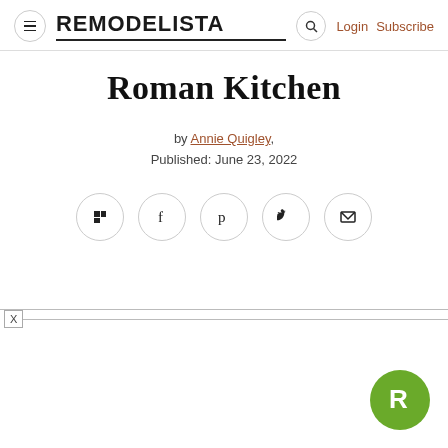REMODELISTA | Login | Subscribe
Roman Kitchen
by Annie Quigley, Published: June 23, 2022
[Figure (infographic): Social sharing icons: Flipboard, Facebook, Pinterest, Twitter, Email — circular outlined buttons]
[Figure (logo): Remodelista green circular badge with white R letter, bottom right corner]